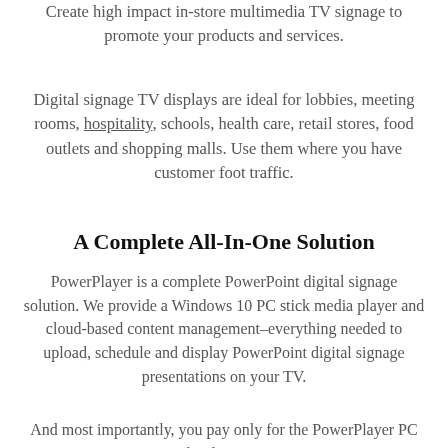Create high impact in-store multimedia TV signage to promote your products and services.
Digital signage TV displays are ideal for lobbies, meeting rooms, hospitality, schools, health care, retail stores, food outlets and shopping malls. Use them where you have customer foot traffic.
A Complete All-In-One Solution
PowerPlayer is a complete PowerPoint digital signage solution. We provide a Windows 10 PC stick media player and cloud-based content management–everything needed to upload, schedule and display PowerPoint digital signage presentations on your TV.
And most importantly, you pay only for the PowerPlayer PC stick. There are no